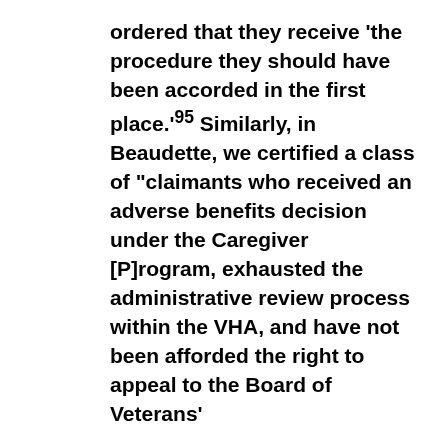ordered that they receive 'the procedure they should have been accorded in the first place.'95 Similarly, in Beaudette, we certified a class of "claimants who received an adverse benefits decision under the Caregiver [P]rogram, exhausted the administrative review process within the VHA, and have not been afforded the right to appeal to the Board of Veterans'